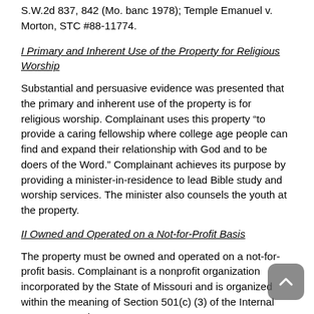S.W.2d 837, 842 (Mo. banc 1978); Temple Emanuel v. Morton, STC #88-11774.
I Primary and Inherent Use of the Property for Religious Worship
Substantial and persuasive evidence was presented that the primary and inherent use of the property is for religious worship. Complainant uses this property “to provide a caring fellowship where college age people can find and expand their relationship with God and to be doers of the Word.”  Complainant achieves its purpose by providing a minister-in-residence to lead Bible study and worship services.  The minister also counsels the youth at the property.
II Owned and Operated on a Not-for-Profit Basis
The property must be owned and operated on a not-for-profit basis.  Complainant is a nonprofit organization incorporated by the State of Missouri and is organized within the meaning of Section 501(c) (3) of the Internal Revenue Service.